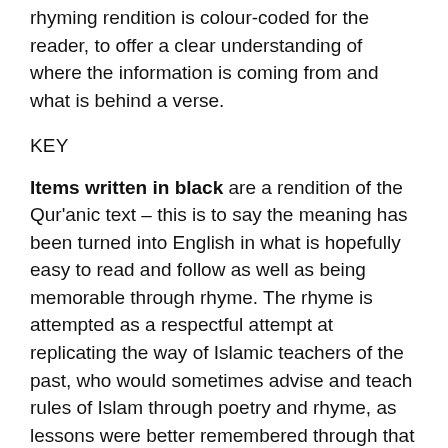rhyming rendition is colour-coded for the reader, to offer a clear understanding of where the information is coming from and what is behind a verse.
KEY
Items written in black are a rendition of the Qur'anic text – this is to say the meaning has been turned into English in what is hopefully easy to read and follow as well as being memorable through rhyme. The rhyme is attempted as a respectful attempt at replicating the way of Islamic teachers of the past, who would sometimes advise and teach rules of Islam through poetry and rhyme, as lessons were better remembered through that style.
Example
This is the Scripture in which there is no doubt, containing guidance for those who keep God in mind. Who believe in the unseen, keep up the prayer, and give of what We've